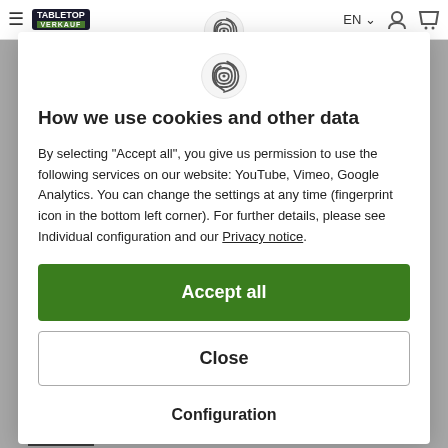TabletopVerkauf — EN — [user icon] [cart icon]
How we use cookies and other data
By selecting "Accept all", you give us permission to use the following services on our website: YouTube, Vimeo, Google Analytics. You can change the settings at any time (fingerprint icon in the bottom left corner). For further details, please see Individual configuration and our Privacy notice.
Accept all
Close
Configuration
Newsletter